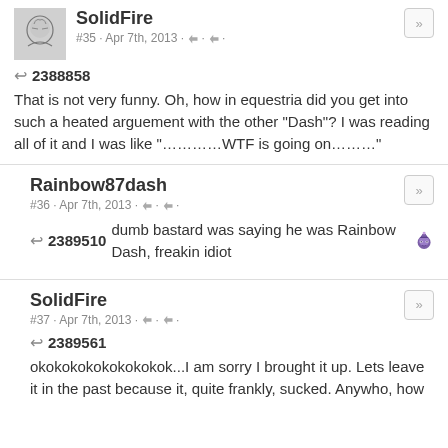SolidFire
#35 · Apr 7th, 2013 · 👍 · 👎 ·
↩ 2388858
That is not very funny. Oh, how in equestria did you get into such a heated arguement with the other "Dash"? I was reading all of it and I was like "…………WTF is going on………"
Rainbow87dash
#36 · Apr 7th, 2013 · 👍 · 👎 ·
↩ 2389510 dumb bastard was saying he was Rainbow Dash, freakin idiot 🎩
SolidFire
#37 · Apr 7th, 2013 · 👍 · 👎 ·
↩ 2389561
okokokokokokokokok...I am sorry I brought it up. Lets leave it in the past because it, quite frankly, sucked. Anywho, how